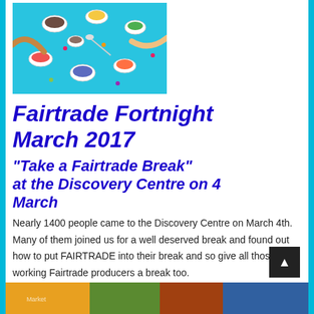[Figure (photo): Overhead flat-lay photo on a blue background showing hands reaching toward various cups of tea, coffee, and colorful toppings/ingredients arranged in a circular pattern]
Fairtrade Fortnight March 2017
“Take a Fairtrade Break” at the Discovery Centre on 4 March
Nearly 1400 people came to the Discovery Centre on March 4th. Many of them joined us for a well deserved break and found out how to put FAIRTRADE into their break and so give all those hard working Fairtrade producers a break too.
[Figure (photo): Partial view of a colorful outdoor event or market scene at the bottom of the page]